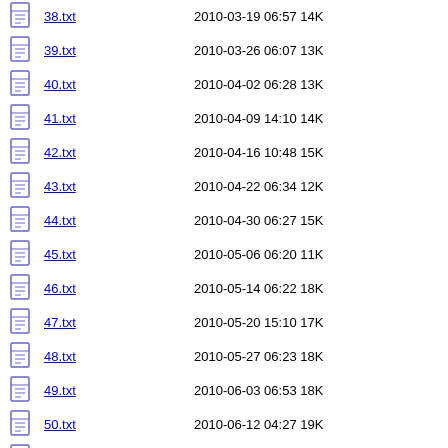38.txt  2010-03-19 06:57 14K
39.txt  2010-03-26 06:07 13K
40.txt  2010-04-02 06:28 13K
41.txt  2010-04-09 14:10 14K
42.txt  2010-04-16 10:48 15K
43.txt  2010-04-22 06:34 12K
44.txt  2010-04-30 06:27 15K
45.txt  2010-05-06 06:20 11K
46.txt  2010-05-14 06:22 18K
47.txt  2010-05-20 15:10 17K
48.txt  2010-05-27 06:23 18K
49.txt  2010-06-03 06:53 18K
50.txt  2010-06-12 04:27 19K
51.txt  2010-06-18 11:59 15K
52.txt  2010-06-25 06:25 14K
Apache/2.4.38 (Debian) Server at www.d.umn.edu Port 443